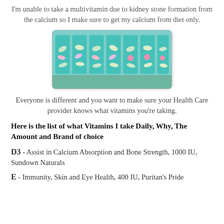I'm unable to take a multivitamin due to kidney stone formation from the calcium so I make sure to get my calcium from diet only.
[Figure (photo): A weekly pill organizer with multiple compartments filled with various colored vitamins and supplements, teal/turquoise colored organizer.]
Everyone is different and you want to make sure your Health Care provider knows what vitamins you're taking.
Here is the list of what Vitamins I take Daily, Why, The Amount and Brand of choice
D3 - Assist in Calcium Absorption and Bone Strength, 1000 IU, Sundown Naturals
E - Immunity, Skin and Eye Health, 400 IU, Puritan's Pride